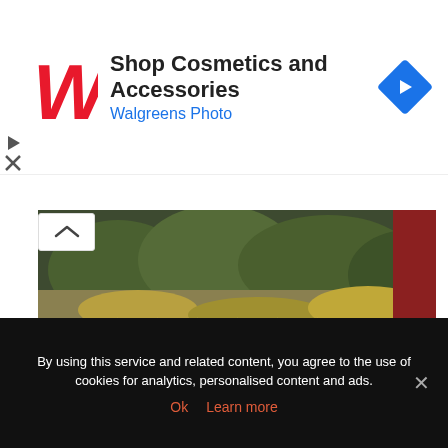[Figure (screenshot): Walgreens advertisement banner with red cursive W logo, 'Shop Cosmetics and Accessories' title, 'Walgreens Photo' subtitle in blue, and a blue diamond navigation arrow icon on the right]
[Figure (photo): Ghibli Studio Museum or Ghibli Museum Tokyo exterior, showing lush garden greenery, trees and a path, with a red wall on the right side]
Ghibli Studio Museum or Ghibli Museum Tokyo
The Ghibli Studio Museum (Ghibli Museum Tokyo) in Tokyo is the gateway into the wonderful world of Hayao Miyazaki’s beloved animation studio. This place
By using this service and related content, you agree to the use of cookies for analytics, personalised content and ads.
Ok  Learn more